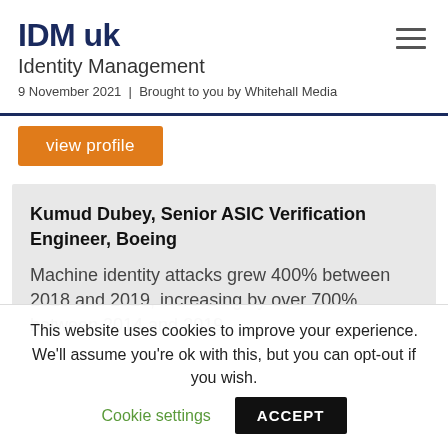IDM uk
Identity Management
9 November 2021 | Brought to you by Whitehall Media
[Figure (other): Hamburger menu icon (three horizontal lines)]
view profile
Kumud Dubey, Senior ASIC Verification Engineer, Boeing

Machine identity attacks grew 400% between 2018 and 2019, increasing by over 700% between 2014 and 2019.
This website uses cookies to improve your experience. We'll assume you're ok with this, but you can opt-out if you wish.  Cookie settings  ACCEPT